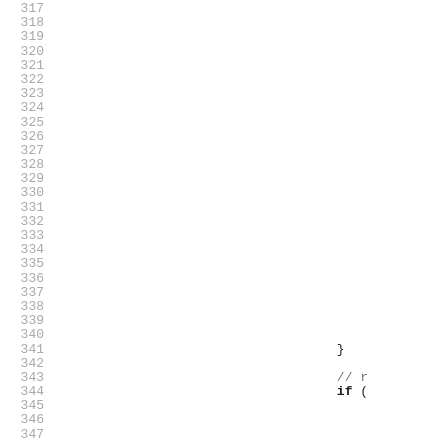Code listing lines 317-347 with line numbers. Line 341: }  Line 343: // r...  Line 344: if (...